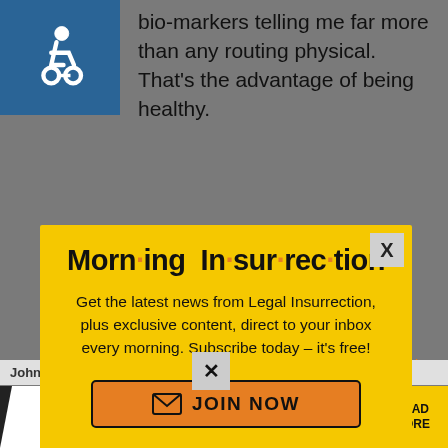bio-markers telling me far more than any routing physical. That's the advantage of being healthy.
[Figure (screenshot): Morning Insurrection newsletter popup modal with yellow background, showing title 'Morn·ing In·sur·rec·tion', subtitle text about Legal Insurrection newsletter subscription, and orange JOIN NOW button]
has nothing to do with Medicare.
Back to top
[Figure (screenshot): THE PERSPECTIVE banner at bottom with 'SEE WHAT YOU'RE MISSING' text and READ MORE button]
JohnC in reply to Pasadena Phil